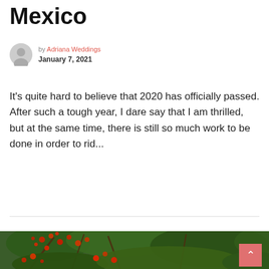Mexico
by Adriana Weddings
January 7, 2021
It's quite hard to believe that 2020 has officially passed. After such a tough year, I dare say that I am thrilled, but at the same time, there is still so much work to be done in order to rid...
CONTINUE READING
[Figure (photo): Photo of red flowering tree with green foliage against blurred background]